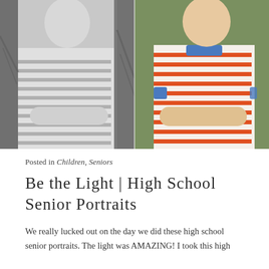[Figure (photo): Split photo showing same young man in striped polo shirt with arms crossed: left half in black-and-white with dark branch background, right half in color showing orange/white striped polo with blue collar, green leafy background.]
Posted in Children, Seniors
Be the Light | High School Senior Portraits
We really lucked out on the day we did these high school senior portraits. The light was AMAZING! I took this high